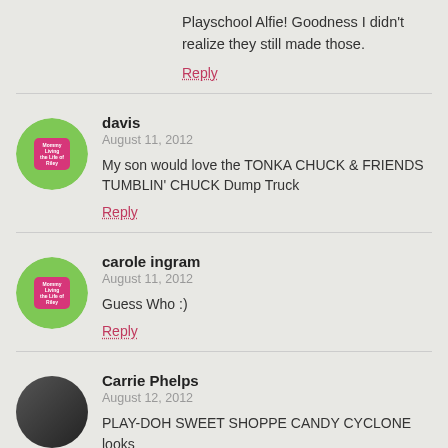Playschool Alfie! Goodness I didn't realize they still made those.
Reply
davis
August 11, 2012
My son would love the TONKA CHUCK & FRIENDS TUMBLIN' CHUCK Dump Truck
Reply
carole ingram
August 11, 2012
Guess Who :)
Reply
Carrie Phelps
August 12, 2012
PLAY-DOH SWEET SHOPPE CANDY CYCLONE looks